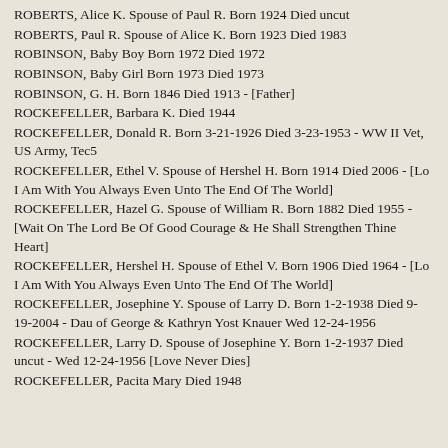ROBERTS, Alice K. Spouse of Paul R. Born 1924 Died uncut
ROBERTS, Paul R. Spouse of Alice K. Born 1923 Died 1983
ROBINSON, Baby Boy Born 1972 Died 1972
ROBINSON, Baby Girl Born 1973 Died 1973
ROBINSON, G. H. Born 1846 Died 1913 - [Father]
ROCKEFELLER, Barbara K. Died 1944
ROCKEFELLER, Donald R. Born 3-21-1926 Died 3-23-1953 - WW II Vet, US Army, Tec5
ROCKEFELLER, Ethel V. Spouse of Hershel H. Born 1914 Died 2006 - [Lo I Am With You Always Even Unto The End Of The World]
ROCKEFELLER, Hazel G. Spouse of William R. Born 1882 Died 1955 - [Wait On The Lord Be Of Good Courage & He Shall Strengthen Thine Heart]
ROCKEFELLER, Hershel H. Spouse of Ethel V. Born 1906 Died 1964 - [Lo I Am With You Always Even Unto The End Of The World]
ROCKEFELLER, Josephine Y. Spouse of Larry D. Born 1-2-1938 Died 9-19-2004 - Dau of George & Kathryn Yost Knauer Wed 12-24-1956
ROCKEFELLER, Larry D. Spouse of Josephine Y. Born 1-2-1937 Died uncut - Wed 12-24-1956 [Love Never Dies]
ROCKEFELLER, Pacita Mary Died 1948